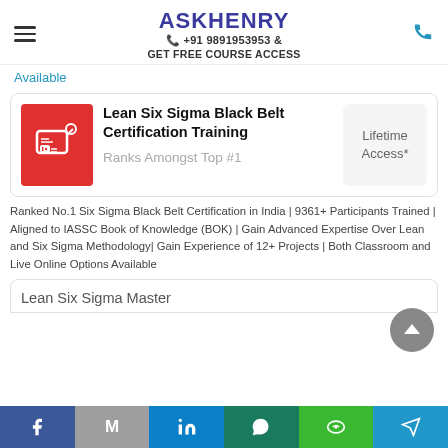ASKHENRY | +91 9891953953 & GET FREE COURSE ACCESS
Available
Lean Six Sigma Black Belt Certification Training
Ranks Amongst Top #1
Lifetime Access*
Ranked No.1 Six Sigma Black Belt Certification in India | 9361+ Participants Trained | Aligned to IASSC Book of Knowledge (BOK) | Gain Advanced Expertise Over Lean and Six Sigma Methodology| Gain Experience of 12+ Projects | Both Classroom and Live Online Options Available
Lean Six Sigma Master
Facebook | Gmail | LinkedIn | WhatsApp | Line | Telegram